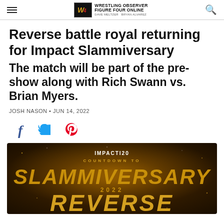Wrestling Observer Figure Four Online
Reverse battle royal returning for Impact Slammiversary
The match will be part of the pre-show along with Rich Swann vs. Brian Myers.
JOSH NASON · JUN 14, 2022
[Figure (illustration): Social share icons: Facebook (f), Twitter (bird), Pinterest (P)]
[Figure (photo): Impact Wrestling Countdown to Slammiversary 2022 Reverse promotional graphic with gold text on dark background]